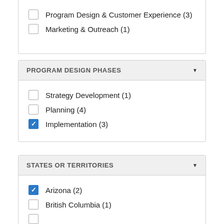Program Design & Customer Experience (3)
Marketing & Outreach (1)
PROGRAM DESIGN PHASES
Strategy Development (1)
Planning (4)
Implementation (3)
STATES OR TERRITORIES
Arizona (2)
British Columbia (1)